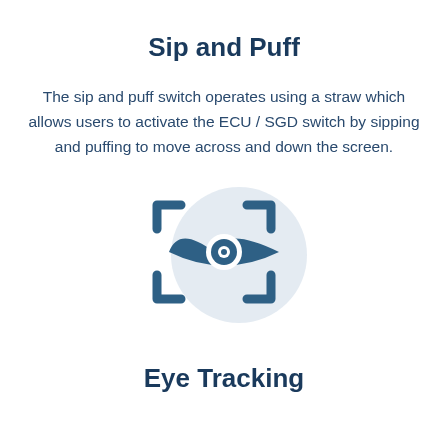Sip and Puff
The sip and puff switch operates using a straw which allows users to activate the ECU / SGD switch by sipping and puffing to move across and down the screen.
[Figure (illustration): Eye tracking icon: a stylized eye with concentric circles in dark teal, framed by corner bracket scan markers, overlaid on a light grey circle background.]
Eye Tracking